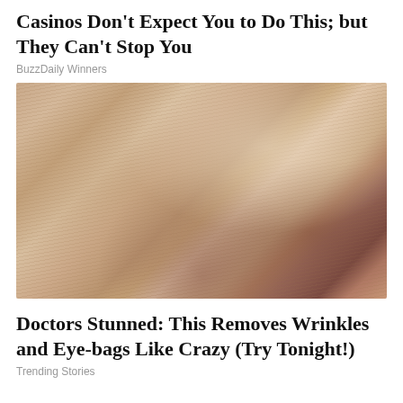Casinos Don't Expect You to Do This; but They Can't Stop You
BuzzDaily Winners
[Figure (photo): Close-up photograph of an elderly person's face showing heavily wrinkled skin with a whitish cream or peel applied to the cheek area near the nose.]
Doctors Stunned: This Removes Wrinkles and Eye-bags Like Crazy (Try Tonight!)
Trending Stories